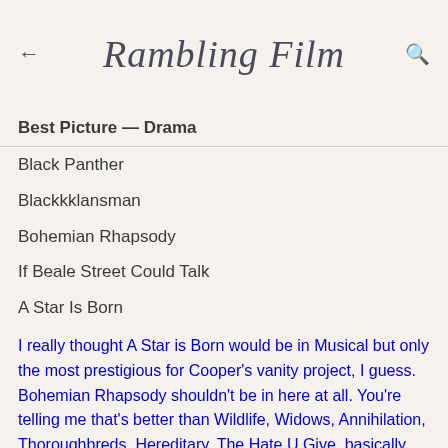Rambling Film
Best Picture — Drama
Black Panther
Blackkklansman
Bohemian Rhapsody
If Beale Street Could Talk
A Star Is Born
I really thought A Star is Born would be in Musical but only the most prestigious for Cooper's vanity project, I guess. Bohemian Rhapsody shouldn't be in here at all. You're telling me that's better than Wildlife, Widows, Annihilation, Thoroughbreds, Hereditary, The Hate U Give, basically ANYTHING else they could in here? Please. But... Black Panter. I never thought I'd see the day when a Marvel movie was up for Best Drama. This is glorious. I'm glad BlackKklansman is in there too. The only one I need to see is